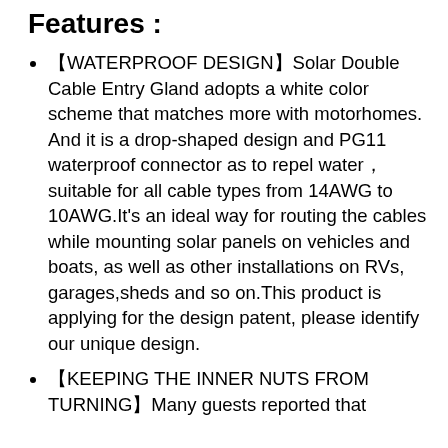Features :
【WATERPROOF DESIGN】Solar Double Cable Entry Gland adopts a white color scheme that matches more with motorhomes. And it is a drop-shaped design and PG11 waterproof connector as to repel water， suitable for all cable types from 14AWG to 10AWG.It's an ideal way for routing the cables while mounting solar panels on vehicles and boats, as well as other installations on RVs, garages,sheds and so on.This product is applying for the design patent, please identify our unique design.
【KEEPING THE INNER NUTS FROM TURNING】Many guests reported that